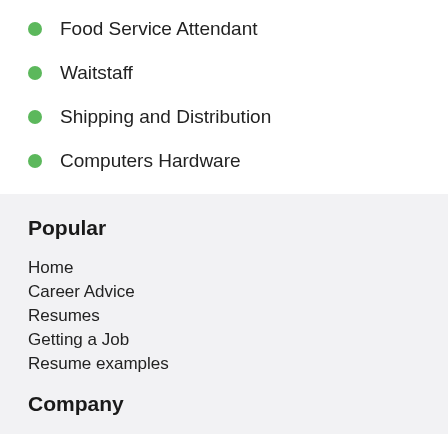Food Service Attendant
Waitstaff
Shipping and Distribution
Computers Hardware
Popular
Home
Career Advice
Resumes
Getting a Job
Resume examples
Company